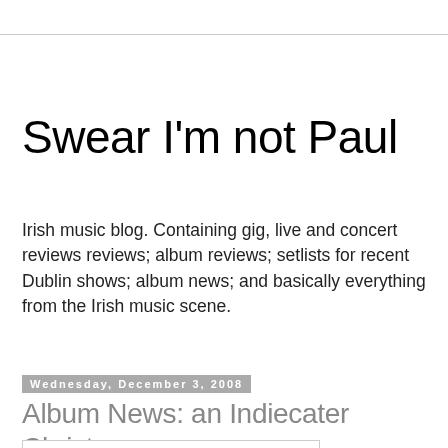Swear I'm not Paul
Irish music blog. Containing gig, live and concert reviews reviews; album reviews; setlists for recent Dublin shows; album news; and basically everything from the Irish music scene.
Wednesday, December 3, 2008
Album News: an Indiecater Christmas
[Figure (photo): White/blank image placeholder box]